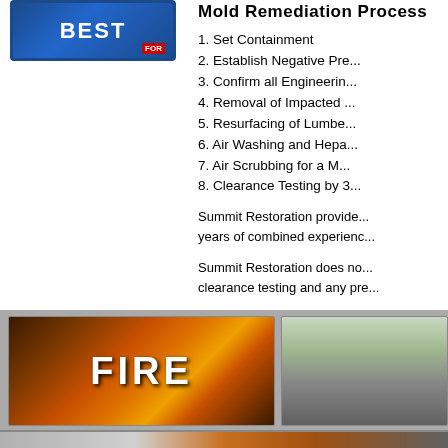[Figure (logo): Best (company) logo in blue with red accent]
Mold Remediation Process
1. Set Containment
2. Establish Negative Pressure
3. Confirm all Engineering Controls
4. Removal of Impacted Materials
5. Resurfacing of Lumber
6. Air Washing and Hepa Vacuuming
7. Air Scrubbing for a Minimum of...
8. Clearance Testing by 3rd Party
Summit Restoration provides... years of combined experience...
Summit Restoration does not... clearance testing and any pre...
[Figure (photo): Fire image with FIRE text overlay]
[Figure (photo): Outdoor/property damage image]
[Figure (photo): Bottom strip showing damage or restoration scene]